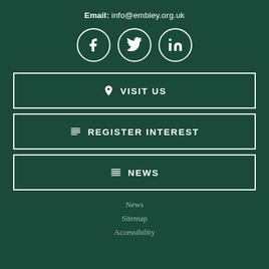Email: info@embley.org.uk
[Figure (illustration): Three social media icons (Facebook, Twitter, LinkedIn) inside white circles on dark green background]
VISIT US
REGISTER INTEREST
NEWS
News
Sitemap
Accessibility